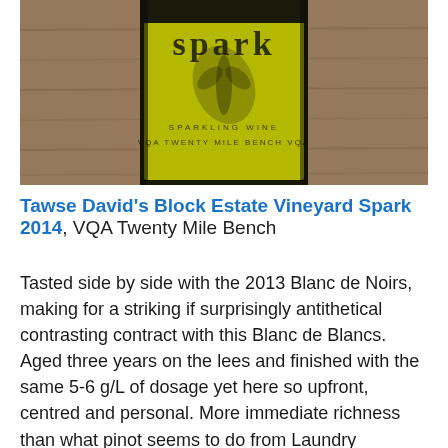[Figure (photo): Close-up photo of a wine bottle with a yellow-green label reading 'spark' and 'SPARKLING WINE VQA TWENTY MILE BENCH VQA' with a palm-leaf graphic, set against a wood background.]
Tawse David's Block Estate Vineyard Spark 2014, VQA Twenty Mile Bench
Tasted side by side with the 2013 Blanc de Noirs, making for a striking if surprisingly antithetical contrasting contract with this Blanc de Blancs. Aged three years on the lees and finished with the same 5-6 g/L of dosage yet here so upfront, centred and personal. More immediate richness than what pinot seems to do from Laundry Vineyard and so even in sparkling it is David's Block and chardonnay that gift quicker satisfaction. Likely vintage driven (again, even in sparkling), very pear and shortbread, a savoury